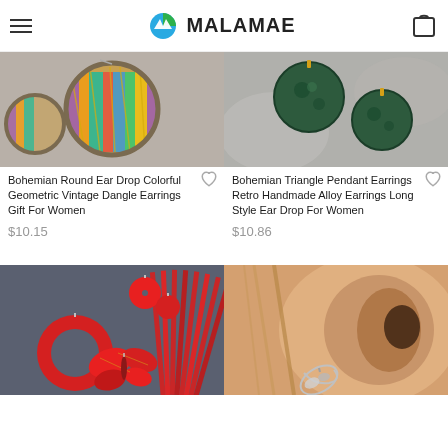MALAMAE
[Figure (photo): Bohemian round colorful geometric earrings product photo]
Bohemian Round Ear Drop Colorful Geometric Vintage Dangle Earrings Gift For Women
$10.15
[Figure (photo): Bohemian triangle pendant earrings dark green product photo]
Bohemian Triangle Pendant Earrings Retro Handmade Alloy Earrings Long Style Ear Drop For Women
$10.86
[Figure (photo): Red bohemian earrings product photo including circle, butterfly, and small round styles]
[Figure (photo): Silver earring on a woman's ear product photo]